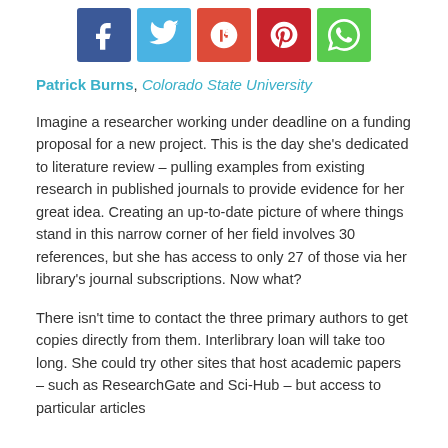[Figure (other): Social media share buttons: Facebook (blue), Twitter (light blue), Google+ (red), Pinterest (dark red), WhatsApp (green)]
Patrick Burns, Colorado State University
Imagine a researcher working under deadline on a funding proposal for a new project. This is the day she's dedicated to literature review – pulling examples from existing research in published journals to provide evidence for her great idea. Creating an up-to-date picture of where things stand in this narrow corner of her field involves 30 references, but she has access to only 27 of those via her library's journal subscriptions. Now what?
There isn't time to contact the three primary authors to get copies directly from them. Interlibrary loan will take too long. She could try other sites that host academic papers – such as ResearchGate and Sci-Hub – but access to particular articles